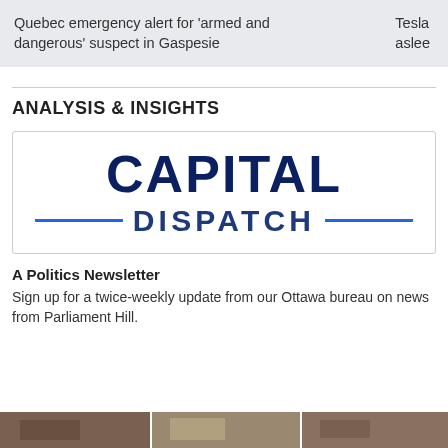Quebec emergency alert for 'armed and dangerous' suspect in Gaspesie	Tesla aslee
ANALYSIS & INSIGHTS
[Figure (logo): Capital Dispatch logo — dark navy bold text 'CAPITAL' above 'DISPATCH' with blue horizontal lines flanking the word DISPATCH]
A Politics Newsletter
Sign up for a twice-weekly update from our Ottawa bureau on news from Parliament Hill.
[Figure (photo): Partial image strip at bottom of page, appears to show news thumbnails]